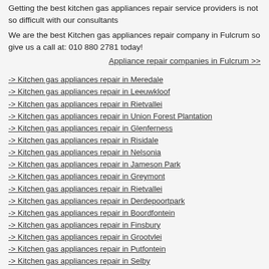Getting the best kitchen gas appliances repair service providers is not so difficult with our consultants
We are the best Kitchen gas appliances repair company in Fulcrum so give us a call at: 010 880 2781 today!
Appliance repair companies in Fulcrum >>
-> Kitchen gas appliances repair in Meredale
-> Kitchen gas appliances repair in Leeuwkloof
-> Kitchen gas appliances repair in Rietvallei
-> Kitchen gas appliances repair in Union Forest Plantation
-> Kitchen gas appliances repair in Glenferness
-> Kitchen gas appliances repair in Risidale
-> Kitchen gas appliances repair in Nelsonia
-> Kitchen gas appliances repair in Jameson Park
-> Kitchen gas appliances repair in Greymont
-> Kitchen gas appliances repair in Rietvallei
-> Kitchen gas appliances repair in Derdepoortpark
-> Kitchen gas appliances repair in Boordfontein
-> Kitchen gas appliances repair in Finsbury
-> Kitchen gas appliances repair in Grootvlei
-> Kitchen gas appliances repair in Putfontein
-> Kitchen gas appliances repair in Selby
-> Kitchen gas appliances repair in Tres Jolie
-> Kitchen gas appliances repair in Bordeaux
-> Kitchen gas appliances repair in Plasville